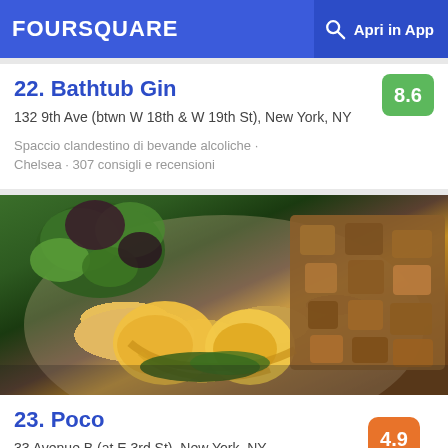FOURSQUARE   Apri in App
22. Bathtub Gin
132 9th Ave (btwn W 18th & W 19th St), New York, NY
Spaccio clandestino di bevande alcoliche · Chelsea · 307 consigli e recensioni
[Figure (photo): Photo of a plate with eggs Benedict with hollandaise sauce, sautéed greens, roasted diced potatoes, and mixed salad leaves]
23. Poco
33 Avenue B (at E 3rd St), New York, NY
Ristorante con specialità tapas · Alphabet City ·